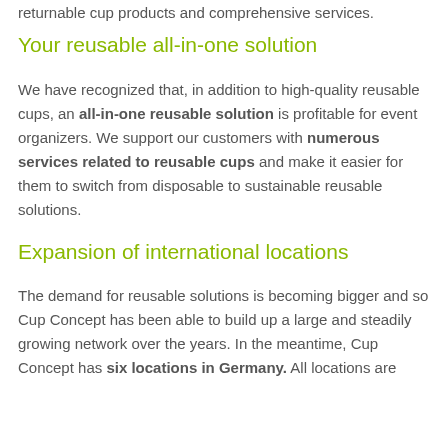returnable cup products and comprehensive services.
Your reusable all-in-one solution
We have recognized that, in addition to high-quality reusable cups, an all-in-one reusable solution is profitable for event organizers. We support our customers with numerous services related to reusable cups and make it easier for them to switch from disposable to sustainable reusable solutions.
Expansion of international locations
The demand for reusable solutions is becoming bigger and so Cup Concept has been able to build up a large and steadily growing network over the years. In the meantime, Cup Concept has six locations in Germany. All locations are